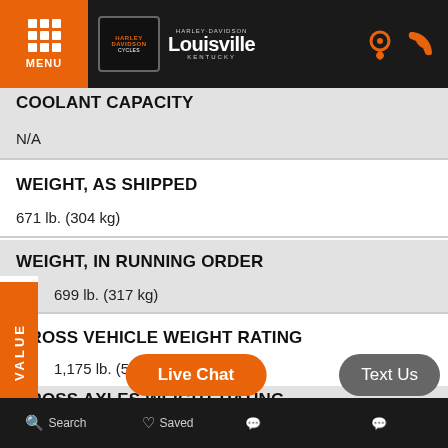MENU | Harley-Davidson Louisville Kentucky
COOLANT CAPACITY
N/A
WEIGHT, AS SHIPPED
671 lb. (304 kg)
WEIGHT, IN RUNNING ORDER
699 lb. (317 kg)
GROSS VEHICLE WEIGHT RATING
1,175 lb. (533 kg)
GROSS AXLES WEIGHT RATING FRONT
Search   Saved   Live Chat   Text Us